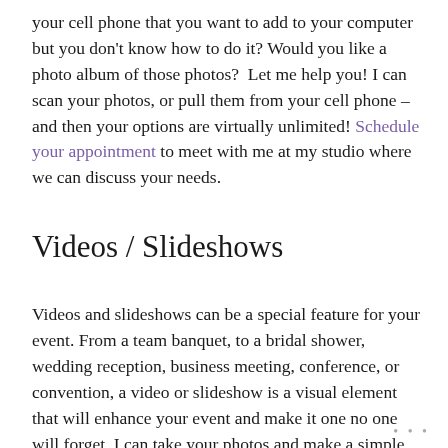your cell phone that you want to add to your computer but you don't know how to do it? Would you like a photo album of those photos?  Let me help you! I can scan your photos, or pull them from your cell phone – and then your options are virtually unlimited! Schedule your appointment to meet with me at my studio where we can discuss your needs.
Videos / Slideshows
Videos and slideshows can be a special feature for your event. From a team banquet, to a bridal shower, wedding reception, business meeting, conference, or convention, a video or slideshow is a visual element that will enhance your event and make it one no one will forget. I can take your photos and make a simple slideshow including music. I can also take your photos and combine them with your live action video (from a video camera or your cell phone) and create a one-of-a-kind movie for
• • •